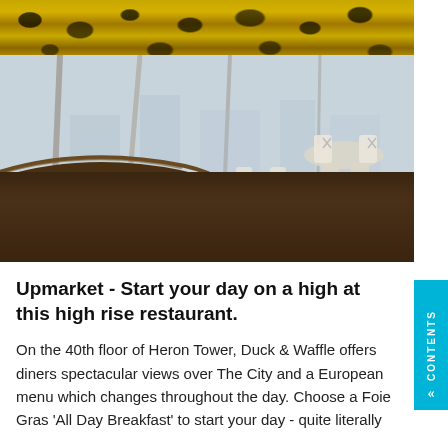[Figure (photo): Interior of Duck & Waffle restaurant on the 40th floor of Heron Tower. Shows a curved wooden booth seating area in the foreground, round tables with chairs, white chairs in the background, large floor-to-ceiling windows with city views, and a distinctive yellow and black patterned ceiling.]
Upmarket - Start your day on a high at this high rise restaurant.
On the 40th floor of Heron Tower, Duck & Waffle offers diners spectacular views over The City and a European menu which changes throughout the day. Choose a Foie Gras 'All Day Breakfast' to start your day - quite literally to a high whilst looking over The City, this is...